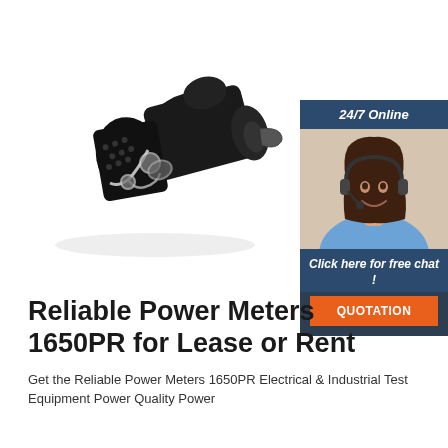[Figure (photo): Black industrial electrical connector/power meter component (Reliable Power Meters 1650PR) shown at an angle, with metal clamp mechanism, on white background]
[Figure (infographic): Customer service chat widget with '24/7 Online' header, photo of smiling woman with headset, 'Click here for free chat!' text, and orange QUOTATION button]
Reliable Power Meters 1650PR for Lease or Rent
Get the Reliable Power Meters 1650PR Electrical & Industrial Test Equipment Power Quality Power